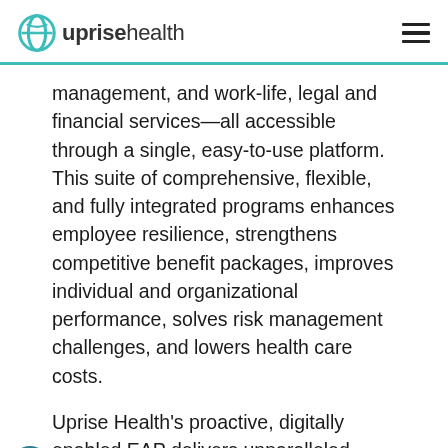uprisehealth
management, and work-life, legal and financial services—all accessible through a single, easy-to-use platform. This suite of comprehensive, flexible, and fully integrated programs enhances employee resilience, strengthens competitive benefit packages, improves individual and organizational performance, solves risk management challenges, and lowers health care costs.
Uprise Health's proactive, digitally enabled EAP delivers unparalleled access combined with highly personalized care